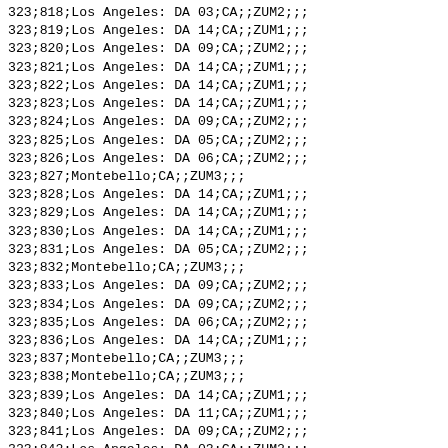323;818;Los Angeles: DA 03;CA;;ZUM2;;;
323;819;Los Angeles: DA 14;CA;;ZUM1;;;
323;820;Los Angeles: DA 09;CA;;ZUM2;;;
323;821;Los Angeles: DA 14;CA;;ZUM1;;;
323;822;Los Angeles: DA 14;CA;;ZUM1;;;
323;823;Los Angeles: DA 14;CA;;ZUM1;;;
323;824;Los Angeles: DA 09;CA;;ZUM2;;;
323;825;Los Angeles: DA 05;CA;;ZUM2;;;
323;826;Los Angeles: DA 06;CA;;ZUM2;;;
323;827;Montebello;CA;;ZUM3;;;
323;828;Los Angeles: DA 14;CA;;ZUM1;;;
323;829;Los Angeles: DA 14;CA;;ZUM1;;;
323;830;Los Angeles: DA 14;CA;;ZUM1;;;
323;831;Los Angeles: DA 05;CA;;ZUM2;;;
323;832;Montebello;CA;;ZUM3;;;
323;833;Los Angeles: DA 09;CA;;ZUM2;;;
323;834;Los Angeles: DA 09;CA;;ZUM2;;;
323;835;Los Angeles: DA 06;CA;;ZUM2;;;
323;836;Los Angeles: DA 14;CA;;ZUM1;;;
323;837;Montebello;CA;;ZUM3;;;
323;838;Montebello;CA;;ZUM3;;;
323;839;Los Angeles: DA 14;CA;;ZUM1;;;
323;840;Los Angeles: DA 11;CA;;ZUM1;;;
323;841;Los Angeles: DA 09;CA;;ZUM2;;;
323;842;Los Angeles: DA 03;CA;;ZUM2;;;
323;843;Los Angeles: DA 05;CA;;ZUM2;;;
323;844;Los Angeles: DA 08;CA;;ZUM2;;;
323;845;Los Angeles: DA 14;CA;;ZUM1;;;
323;846;Los Angeles: DA 08;CA;;ZUM2;;;
323;847;Los Angeles: DA 13;CA;;ZUM1;;;
323;848;Los Angeles: DA 14;CA;;ZUM1;;;